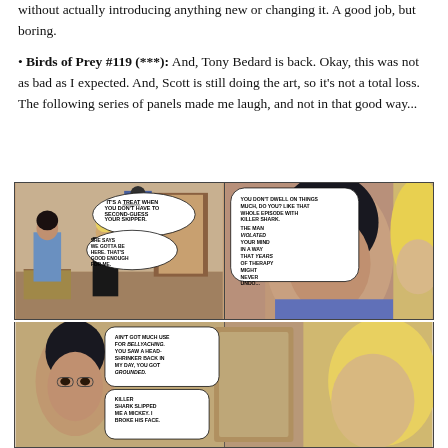without actually introducing anything new or changing it. A good job, but boring.
Birds of Prey #119 (***): And, Tony Bedard is back. Okay, this was not as bad as I expected. And, Scott is still doing the art, so it's not a total loss. The following series of panels made me laugh, and not in that good way...
[Figure (illustration): Two rows of comic book panels from Birds of Prey #119. Top row has two panels side by side: left panel shows two women in a room with boxes and a costume on a mannequin, with speech bubbles reading 'IT'S A TREAT WHEN YOU DON'T HAVE TO SECOND-GUESS YOUR SKIPPER.' and 'SHE SAYS WE GOTTA BE HERE. THAT'S GOOD ENOUGH FOR ME.'; right panel shows close-up of dark-haired woman with blonde woman, speech bubble reads 'YOU DON'T DWELL ON THINGS MUCH, DO YOU? LIKE THAT WHOLE EPISODE WITH KILLER SHARK. THE MAN VIOLATED YOUR MIND IN A WAY THAT YEARS OF THERAPY MIGHT NEVER UNDO...' Bottom row shows continuation with speech bubbles reading 'AIN'T GOT MUCH USE FOR BELLYACHING. YOU SAW A HEAD-SHRINKER BACK IN MY DAY, YOU GOT GROUNDED.' and 'KILLER SHARK SLIPPED ME A MICKEY. I BROKE HIS FACE.']